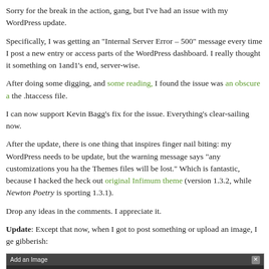Sorry for the break in the action, gang, but I've had an issue with my WordPress update.
Specifically, I was getting an "Internal Server Error – 500" message every time I post a new entry or access parts of the WordPress dashboard. I really thought it something on 1and1's end, server-wise.
After doing some digging, and some reading, I found the issue was an obscure a the .htaccess file.
I can now support Kevin Bagg's fix for the issue. Everything's clear-sailing now.
After the update, there is one thing that inspires finger nail biting: my WordPress needs to be update, but the warning message says "any customizations you ha the Themes files will be lost." Which is fantastic, because I hacked the heck out original Infimum theme (version 1.3.2, while Newton Poetry is sporting 1.3.1).
Drop any ideas in the comments. I appreciate it.
Update: Except that now, when I got to post something or upload an image, I ge gibberish:
[Figure (screenshot): Screenshot of 'Add an Image' dialog showing code gibberish with PHP/SQL code text visible in dark background editor window]